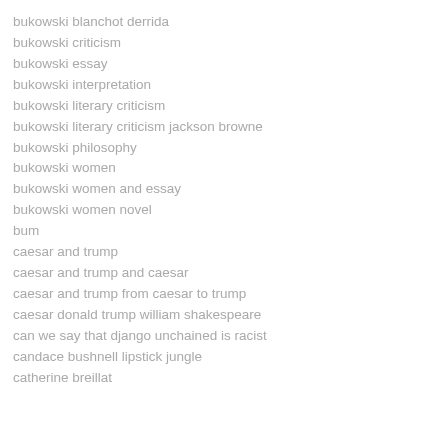bukowski blanchot derrida
bukowski criticism
bukowski essay
bukowski interpretation
bukowski literary criticism
bukowski literary criticism jackson browne
bukowski philosophy
bukowski women
bukowski women and essay
bukowski women novel
bum
caesar and trump
caesar and trump and caesar
caesar and trump from caesar to trump
caesar donald trump william shakespeare
can we say that django unchained is racist
candace bushnell lipstick jungle
catherine breillat